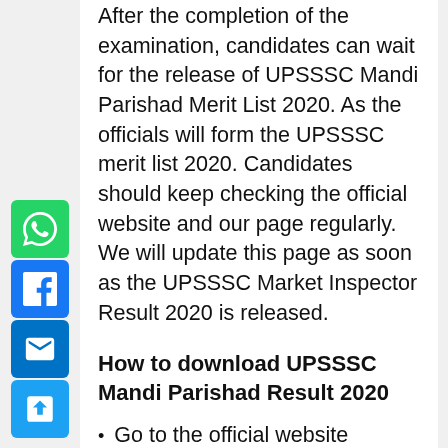After the completion of the examination, candidates can wait for the release of UPSSSC Mandi Parishad Merit List 2020. As the officials will form the UPSSSC merit list 2020. Candidates should keep checking the official website and our page regularly. We will update this page as soon as the UPSSSC Market Inspector Result 2020 is released.
How to download UPSSSC Mandi Parishad Result 2020
Go to the official website www.upsssc.gov.in.
Click on the Result link.
Enter all the required details in the given fields.